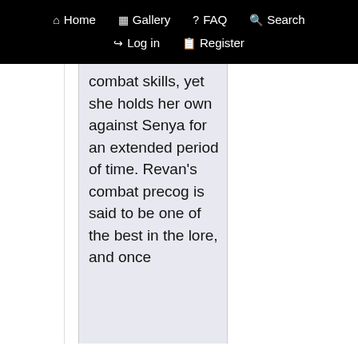Home  Gallery  FAQ  Search  Log in  Register
combat skills, yet she holds her own against Senya for an extended period of time. Revan's combat precog is said to be one of the best in the lore, and once